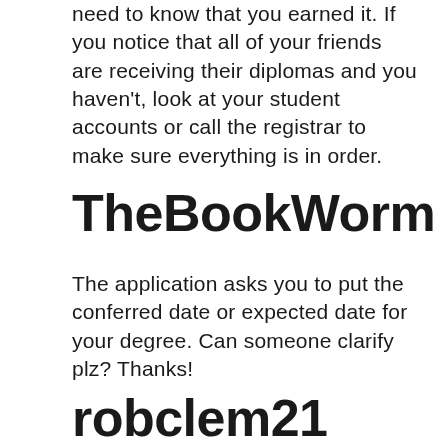need to know that you earned it. If you notice that all of your friends are receiving their diplomas and you haven't, look at your student accounts or call the registrar to make sure everything is in order.
TheBookWorm
The application asks you to put the conferred date or expected date for your degree. Can someone clarify plz? Thanks!
robclem21